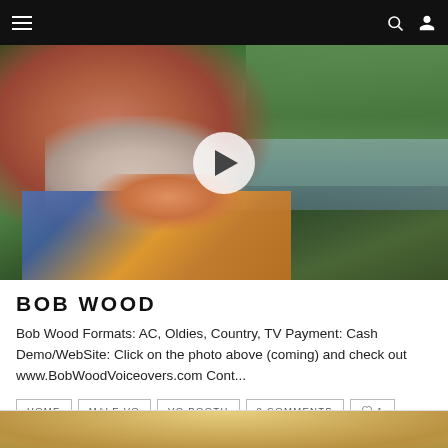Navigation bar with hamburger menu, search and user icons
[Figure (photo): Close-up photo of an older man with a white beard, wearing a blue and yellow shirt, outdoors near water and trees, with a video play button overlay in the center]
BOB WOOD
Bob Wood Formats: AC, Oldies, Country, TV Payment: Cash Demo/WebSite: Click on the photo above (coming) and check out www.BobWoodVoiceovers.com Cont...
HOME
MALE VO
VO BOOTH
0 COMMENTS
♡ 1
[Figure (photo): Partial view of another person with blonde hair, cropped at bottom of page]